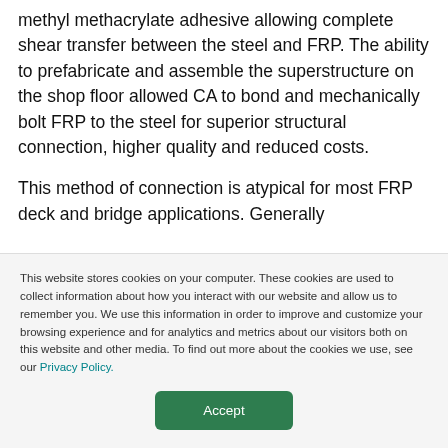methyl methacrylate adhesive allowing complete shear transfer between the steel and FRP. The ability to prefabricate and assemble the superstructure on the shop floor allowed CA to bond and mechanically bolt FRP to the steel for superior structural connection, higher quality and reduced costs.

This method of connection is atypical for most FRP deck and bridge applications. Generally
This website stores cookies on your computer. These cookies are used to collect information about how you interact with our website and allow us to remember you. We use this information in order to improve and customize your browsing experience and for analytics and metrics about our visitors both on this website and other media. To find out more about the cookies we use, see our Privacy Policy.